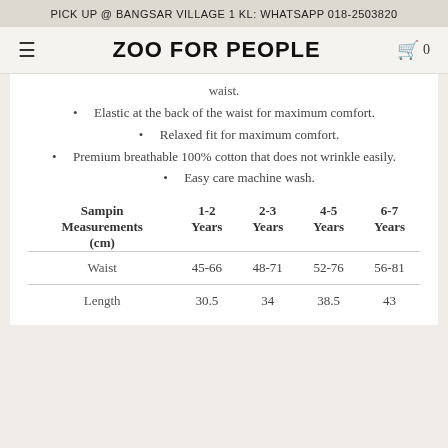PICK UP @ BANGSAR VILLAGE 1 KL: WHATSAPP 018-2503820
ZOO FOR PEOPLE
waist.
Elastic at the back of the waist for maximum comfort.
Relaxed fit for maximum comfort.
Premium breathable 100% cotton that does not wrinkle easily.
Easy care machine wash.
| Sampin Measurements (cm) | 1-2 Years | 2-3 Years | 4-5 Years | 6-7 Years |
| --- | --- | --- | --- | --- |
| Waist | 45-66 | 48-71 | 52-76 | 56-81 |
| Length | 30.5 | 34 | 38.5 | 43 |